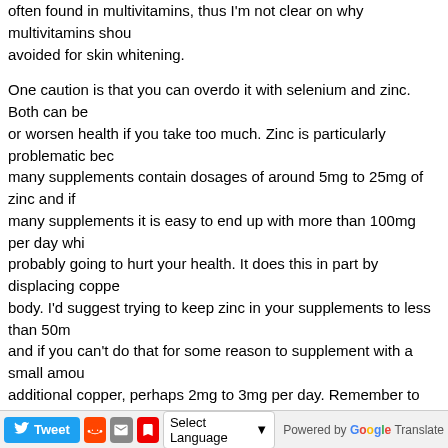often found in multivitamins, thus I'm not clear on why multivitamins should be avoided for skin whitening.

One caution is that you can overdo it with selenium and zinc. Both can be or worsen health if you take too much. Zinc is particularly problematic because many supplements contain dosages of around 5mg to 25mg of zinc and if many supplements it is easy to end up with more than 100mg per day which is probably going to hurt your health. It does this in part by displacing copper from the body. I'd suggest trying to keep zinc in your supplements to less than 50mg and if you can't do that for some reason to supplement with a small amount of additional copper, perhaps 2mg to 3mg per day. Remember to count the copper you get from supplements like chlorophyllin as they contain a small amount. Lots of people taking NAC for heavy metal detox are also using chlorella, chlorophyll, or chlorophyllin supplements.

You can get significant amounts of selenium from a variety of sources in foods. One of the best sources is the Brazil nut, each one is thought to typically contain around 50mcg of selenium. Consuming more than 400mcg of selenium per day on a consistent basis starts to risk selenium toxicity, but this can be monitored by blood tests if there's a concern.

Other supplements that may help raise glutathione levels including methyl donors such as choline, DMG (dimethylglycine), TMG (trimethylglycine), and MSM (methylsulfonylmethane). It's my understanding that it would be hard to ov
Tweet | [reddit] | [email] | [flag] | Select Language ▾ | Powered by Google Translate